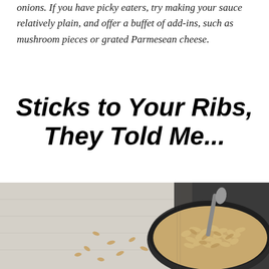onions. If you have picky eaters, try making your sauce relatively plain, and offer a buffet of add-ins, such as mushroom pieces or grated Parmesean cheese.
Sticks to Your Ribs, They Told Me...
[Figure (photo): Overhead photo of oats/rolled oats in a dark glass bowl with a spoon, on a grey wooden surface, with oats scattered around]